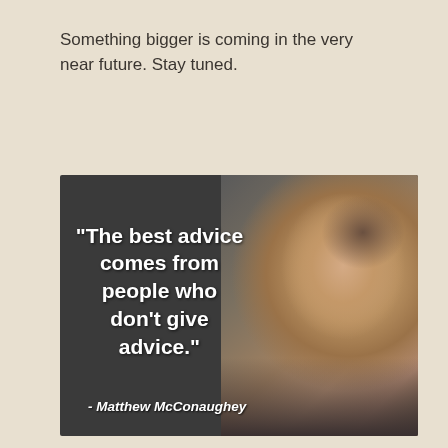Something bigger is coming in the very near future. Stay tuned.
[Figure (photo): Quote image with dark background showing text '"The best advice comes from people who don't give advice."' attributed to Matthew McConaughey, with a photo of a smiling man on the right side.]